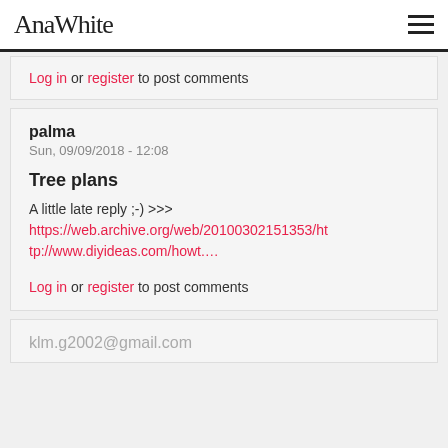AnaWhite
Log in or register to post comments
palma
Sun, 09/09/2018 - 12:08
Tree plans
A little late reply ;-) >>> https://web.archive.org/web/20100302151353/http://www.diyideas.com/howt....
Log in or register to post comments
klm.g2002@gmail.com